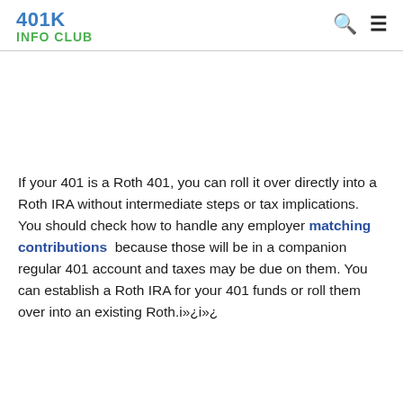401K INFO CLUB
If your 401 is a Roth 401, you can roll it over directly into a Roth IRA without intermediate steps or tax implications. You should check how to handle any employer matching contributions because those will be in a companion regular 401 account and taxes may be due on them. You can establish a Roth IRA for your 401 funds or roll them over into an existing Roth.i»¿i»¿